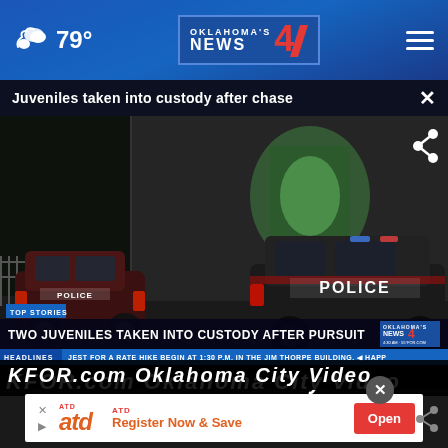79° Oklahoma's News 4
Juveniles taken into custody after chase
[Figure (screenshot): Night scene with two police SUVs parked near a building, lower third graphic reading TWO JUVENILES TAKEN INTO CUSTODY AFTER PURSUIT, with NEWS 4 branding and headlines ticker]
KFOR.com Oklahoma City Video
[Figure (other): ATD advertisement banner with logo, text Register Now & Save, and Open button]